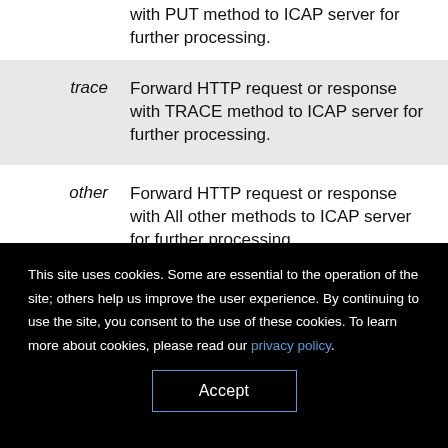with PUT method to ICAP server for further processing.
| trace | Forward HTTP request or response with TRACE method to ICAP server for further processing. |
| other | Forward HTTP request or response with All other methods to ICAP server for further processing. |
This site uses cookies. Some are essential to the operation of the site; others help us improve the user experience. By continuing to use the site, you consent to the use of these cookies. To learn more about cookies, please read our privacy policy.
Accept